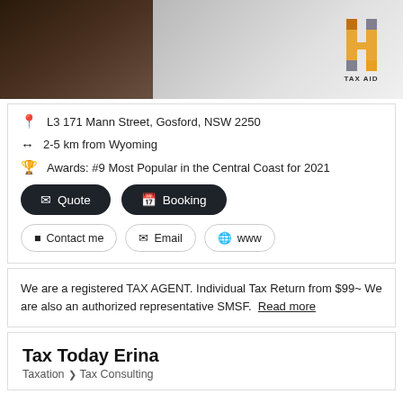[Figure (photo): Photo of a business office entrance/corridor on the left with a dark hallway, and on the right a frosted glass door/panel showing the HH Tax Aid logo in orange and grey with contact details text visible.]
L3 171 Mann Street, Gosford, NSW 2250
2-5 km from Wyoming
Awards: #9 Most Popular in the Central Coast for 2021
Quote
Booking
Contact me
Email
www
We are a registered TAX AGENT. Individual Tax Return from $99~ We are also an authorized representative SMSF. Read more
Tax Today Erina
Taxation > Tax Consulting